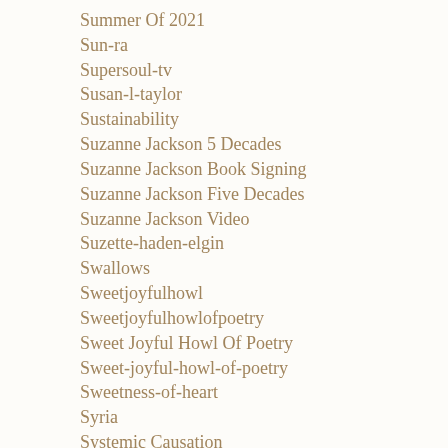Summer Of 2021
Sun-ra
Supersoul-tv
Susan-l-taylor
Sustainability
Suzanne Jackson 5 Decades
Suzanne Jackson Book Signing
Suzanne Jackson Five Decades
Suzanne Jackson Video
Suzette-haden-elgin
Swallows
Sweetjoyfulhowl
Sweetjoyfulhowlofpoetry
Sweet Joyful Howl Of Poetry
Sweet-joyful-howl-of-poetry
Sweetness-of-heart
Syria
Systemic Causation
Taliban In Afghanistan
Talking About Race And Racism
Tamir Rice
Top-of-the-rainbow